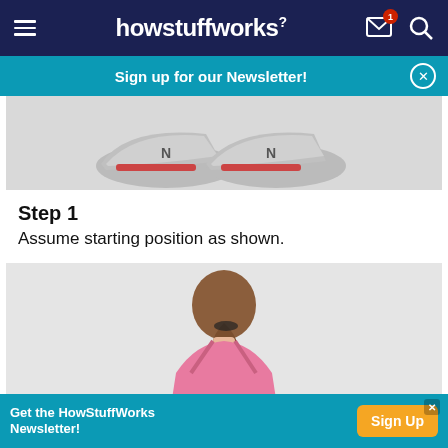howstuffworks
Sign up for our Newsletter!
[Figure (photo): Close-up of athletic sneakers (New Balance style, grey/white/pink) on a light surface, viewed from below]
Step 1
Assume starting position as shown.
[Figure (photo): Back view of a woman with a ponytail wearing a pink sports top, on a light background]
Get the HowStuffWorks Newsletter!  Sign Up